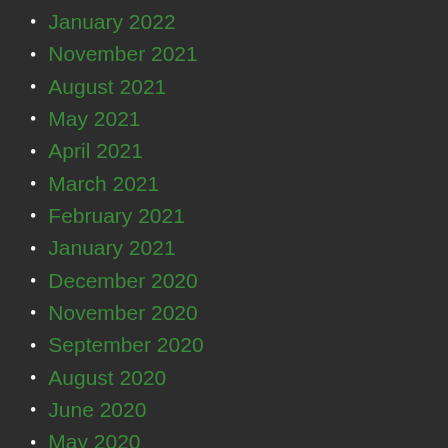January 2022
November 2021
August 2021
May 2021
April 2021
March 2021
February 2021
January 2021
December 2020
November 2020
September 2020
August 2020
June 2020
May 2020
April 2020
March 2020